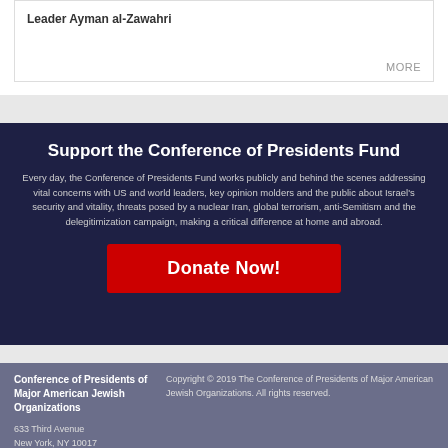Leader Ayman al-Zawahri
MORE
Support the Conference of Presidents Fund
Every day, the Conference of Presidents Fund works publicly and behind the scenes addressing vital concerns with US and world leaders, key opinion molders and the public about Israel's security and vitality, threats posed by a nuclear Iran, global terrorism, anti-Semitism and the delegitimization campaign, making a critical difference at home and abroad.
Donate Now!
Conference of Presidents of Major American Jewish Organizations
633 Third Avenue
New York, NY 10017
Phone: 212-318-6111
Fax: 212-339-6965
Copyright © 2019 The Conference of Presidents of Major American Jewish Organizations. All rights reserved.